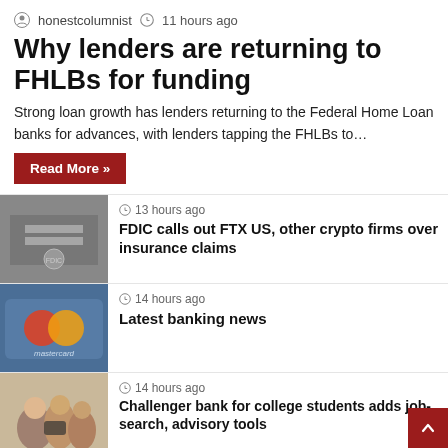honestcolumnist  11 hours ago
Why lenders are returning to FHLBs for funding
Strong loan growth has lenders returning to the Federal Home Loan banks for advances, with lenders tapping the FHLBs to…
Read More »
[Figure (photo): FDIC building sign photo]
13 hours ago
FDIC calls out FTX US, other crypto firms over insurance claims
[Figure (photo): Mastercard credit card close-up photo]
14 hours ago
Latest banking news
[Figure (photo): Group of college students looking at phone]
14 hours ago
Challenger bank for college students adds job-search, advisory tools
[Figure (photo): Building or office exterior photo]
15 hours ago